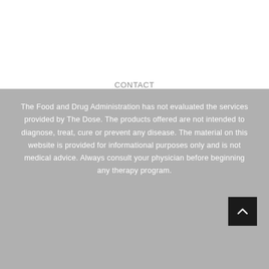The Food and Drug Administration has not evaluated the services provided by The Dose. The products offered are not intended to diagnose, treat, cure or prevent any disease. The material on this website is provided for informational purposes only and is not medical advice. Always consult your physician before beginning any therapy program.